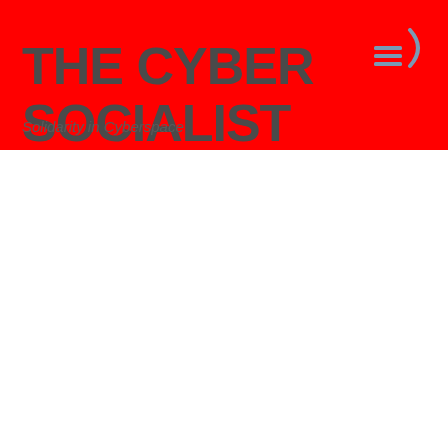THE CYBER SOCIALIST
Solidarity in Cyberspace
[Figure (illustration): Hamburger menu icon with three horizontal lines and a curved bracket on the right side, in blue/grey color on red background]